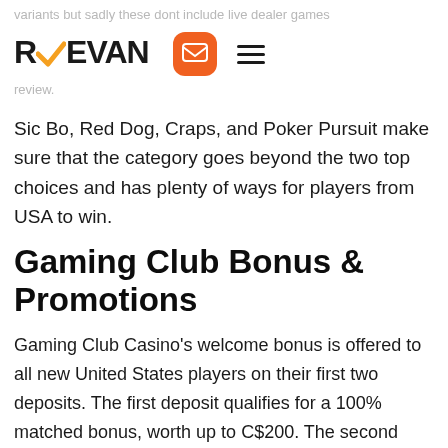REEVAN
variants but sadly these dont include live dealer games
review.
Sic Bo, Red Dog, Craps, and Poker Pursuit make sure that the category goes beyond the two top choices and has plenty of ways for players from USA to win.
Gaming Club Bonus & Promotions
Gaming Club Casino's welcome bonus is offered to all new United States players on their first two deposits. The first deposit qualifies for a 100% matched bonus, worth up to C$200. The second deposit will earn the new player an additional 150%, worth up to C$150. In total, that is an extra C$350 in free cash.